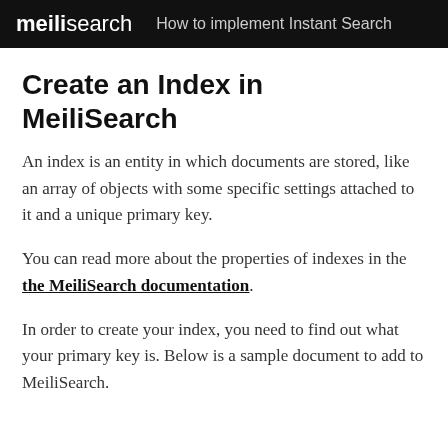meilisearch  How to implement Instant Search
Create an Index in MeiliSearch
An index is an entity in which documents are stored, like an array of objects with some specific settings attached to it and a unique primary key.
You can read more about the properties of indexes in the the MeiliSearch documentation.
In order to create your index, you need to find out what your primary key is. Below is a sample document to add to MeiliSearch.